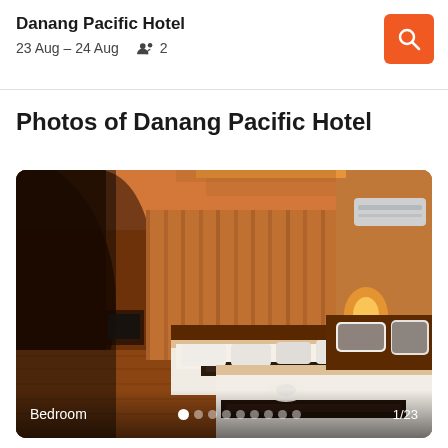Danang Pacific Hotel
23 Aug – 24 Aug   2
Photos of Danang Pacific Hotel
[Figure (photo): Hotel bedroom photo showing two large beds with white linens and dark decorative runners, warm orange/amber lighting, wooden floors, curtained windows, air conditioning unit on upper right wall. Caption: Bedroom. Counter: 1/23]
Bedroom  1/23